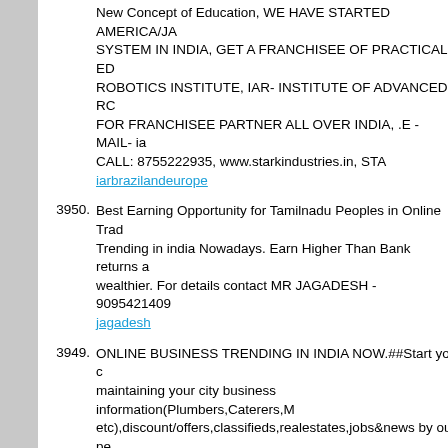New Concept of Education, WE HAVE STARTED AMERICA/JA SYSTEM IN INDIA, GET A FRANCHISEE OF PRACTICAL ED ROBOTICS INSTITUTE, IAR- INSTITUTE OF ADVANCED RC FOR FRANCHISEE PARTNER ALL OVER INDIA, .E -MAIL- ia CALL: 8755222935, www.starkindustries.in, STA iarbrazilandeurope
3950. Best Earning Opportunity for Tamilnadu Peoples in Online Trad Trending in india Nowadays. Earn Higher Than Bank returns a wealthier. For details contact MR JAGADESH - 9095421409 jagadesh
3949. ONLINE BUSINESS TRENDING IN INDIA NOW.##Start your c maintaining your city business information(Plumbers,Caterers,M etc),discount/offers,classifieds,realestates,jobs&news by our pe based CMS website& also earn money through free Recharge Amazon,Flipkart product booking commissions.check our webp www.dialnizamabad.com,dialkarimnagar.com,kallambazaar.cor whatsapp 9703817117 or mail me satish19ou@gmail.com satishmedipally
3948. INVEST IN MARKETING ROBOTS,MARKETING HUMANOID INVESTORS/PARTNERS CAN CALL, 100% SUCCESSFUL IN ROBOT CAN BE USE FOR MARKETING AND ADVERTISING INVESTORS CAN MULTIPLY THERE INVESTMENT, IN SHOF AN ISO 9001 - 2008 COMPANY, THEY CAN REPLACE SALES ATTRACT THOUSANDS OF PEOPLES AT A TIME, SO call-87 www.starkindustries.in, E- Mail-iardehradun@gmail.com.........DFVSDVDSVDSV...........FHGHH iardfghjhkjlhgffds
3947. START ROBOT//ELECTRONICS MANUFACTURING COMPA INSTITUTE, EARN MILLIONS AND EARN EARLY, AMAZ